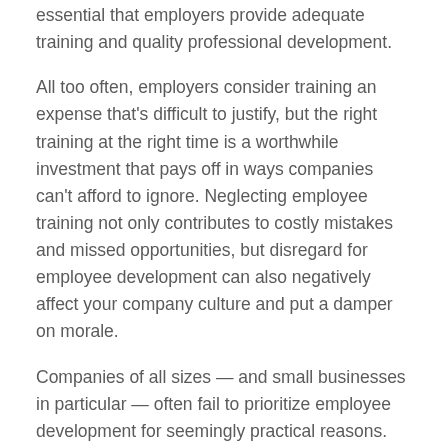essential that employers provide adequate training and quality professional development.
All too often, employers consider training an expense that's difficult to justify, but the right training at the right time is a worthwhile investment that pays off in ways companies can't afford to ignore. Neglecting employee training not only contributes to costly mistakes and missed opportunities, but disregard for employee development can also negatively affect your company culture and put a damper on morale.
Companies of all sizes — and small businesses in particular — often fail to prioritize employee development for seemingly practical reasons. While management focuses on the most essential day-to-day operations, the longer-term outlook on employee development planning generally gets less attention. Training requires time away from other responsibilities and can interfere with productivity in the short term. Plus, many leaders simply don't know what skills and knowledge their employees